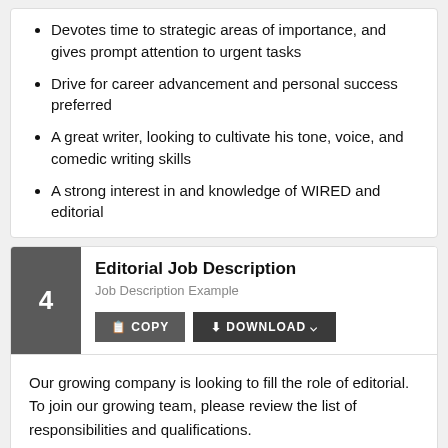Devotes time to strategic areas of importance, and gives prompt attention to urgent tasks
Drive for career advancement and personal success preferred
A great writer, looking to cultivate his tone, voice, and comedic writing skills
A strong interest in and knowledge of WIRED and editorial
Editorial Job Description
Job Description Example
Our growing company is looking to fill the role of editorial. To join our growing team, please review the list of responsibilities and qualifications.